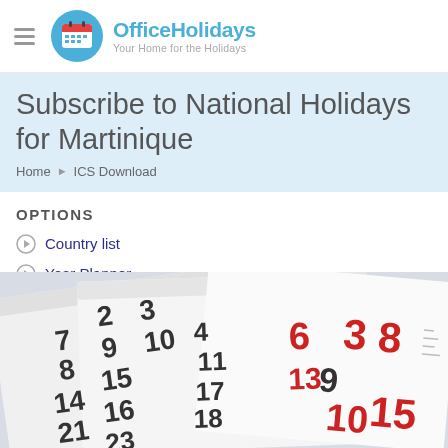OfficeHolidays — Your Home for the Holidays
Subscribe to National Holidays for Martinique
Home ▶ ICS Download
OPTIONS
Country list
Year Planner
[Figure (photo): Close-up photograph of overlapping calendar pages showing dates with some dates in red]